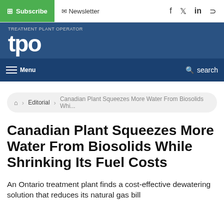Subscribe | Newsletter | f | in | RSS
[Figure (logo): TPO magazine logo on dark blue background]
Menu | search
Home > Editorial > Canadian Plant Squeezes More Water From Biosolids While...
Canadian Plant Squeezes More Water From Biosolids While Shrinking Its Fuel Costs
An Ontario treatment plant finds a cost-effective dewatering solution that reduces its natural gas bill substantially.